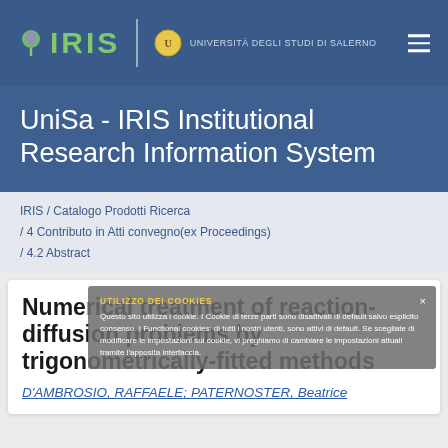IRIS | UNIVERSITÀ DEGLI STUDI DI SALERNO
UniSa - IRIS Institutional Research Information System
IRIS / Catalogo Prodotti Ricerca / 4 Contributo in Atti convegno(ex Proceedings) / 4.2 Abstract
Numerical treatment of reaction-diffusion problems by trigonometrically-fitted methods
D'AMBROSIO, RAFFAELE; PATERNOSTER, Beatrice
UTILIZZO DEI COOKIES
Questo sito utilizza i cookie. I Cookie di terze parti sono disattivati di default salvo esplicito consenso. I Functional cookies: di tutti i nostri utenti, sono attivi di default. Se scegliate di modificare le impostazioni sui cookie, vi preghiamo di cambiare le impostazioni attuali tramite l'apposita interfaccia.